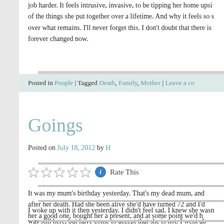job harder. It feels intrusive, invasive, to be tipping her home upsi of the things she put together over a lifetime. And why it feels so s over what remains. I'll never forget this. I don't doubt that there is forever changed now.
Posted in People | Tagged Death, Family, Mother | Leave a co
Goings
Posted on July 18, 2012 by H
Rate This
It was my mum's birthday yesterday. That's my dead mum, and after her death. Had she been alive she'd have turned 72 and I'd her a good one, bought her a present, and at some point we'd h or dinner to celebrate. It was on my mind in the days leading up I had forgotten then it the repeated warnings from my calendar al reminded me.
I woke up with it then yesterday. I didn't feel sad. I knew she wasn was still here, but have come to accept that she is not. I went ab